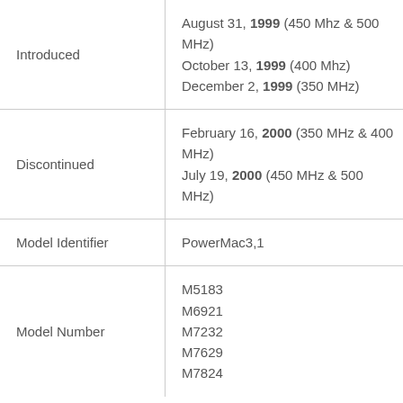| Field | Value |
| --- | --- |
| Introduced | August 31, 1999 (450 Mhz & 500 MHz)
October 13, 1999 (400 Mhz)
December 2, 1999 (350 MHz) |
| Discontinued | February 16, 2000 (350 MHz & 400 MHz)
July 19, 2000 (450 MHz & 500 MHz) |
| Model Identifier | PowerMac3,1 |
| Model Number | M5183
M6921
M7232
M7629
M7824 |